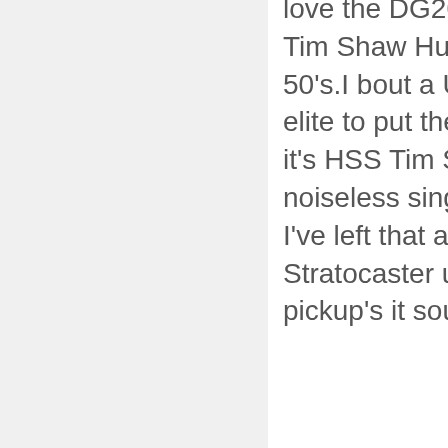love the DG20.My Stratocaster was HSS Tim Shaw Humbucker bucker & 2 fat 50's.I bout a USA FENDER Stratocaster elite to put the loaded pick guard in but it's HSS Tim Shaw Humbucker &2 noiseless single's with S1 switching So I've left that as is.Then bought a FENDER Stratocaster ultra SSS 3 Noiseless pickup's it sound's